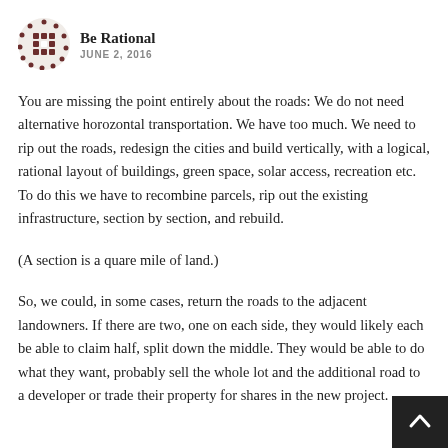Be Rational
JUNE 2, 2016
You are missing the point entirely about the roads: We do not need alternative horozontal transportation. We have too much. We need to rip out the roads, redesign the cities and build vertically, with a logical, rational layout of buildings, green space, solar access, recreation etc. To do this we have to recombine parcels, rip out the existing infrastructure, section by section, and rebuild.
(A section is a quare mile of land.)
So, we could, in some cases, return the roads to the adjacent landowners. If there are two, one on each side, they would likely each be able to claim half, split down the middle. They would be able to do what they want, probably sell the whole lot and the additional road to a developer or trade their property for shares in the new project.